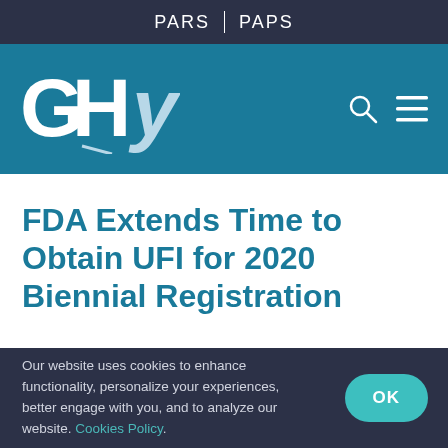PARS | PAPS
[Figure (logo): GHY company logo in white on teal background, with search and menu icons on the right]
FDA Extends Time to Obtain UFI for 2020 Biennial Registration
Our website uses cookies to enhance functionality, personalize your experiences, better engage with you, and to analyze our website. Cookies Policy.